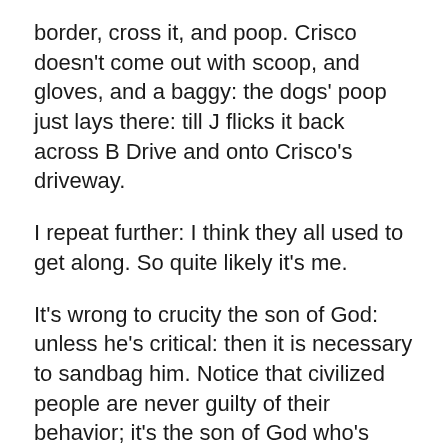border, cross it, and poop. Crisco doesn't come out with scoop, and gloves, and a baggy: the dogs' poop just lays there: till J flicks it back across B Drive and onto Crisco's driveway.
I repeat further: I think they all used to get along. So quite likely it's me.
It's wrong to crucity the son of God: unless he's critical: then it is necessary to sandbag him. Notice that civilized people are never guilty of their behavior; it's the son of God who's guilty. But blame the crucifixion of the Jews. And remember that all you have to do to justify sabotaging pk is to call him a Communist. or a terrorist. You don't need any evidence: except that I'm critical.
Sick of me referring to Jesus? Me too. Substitute Abelard: